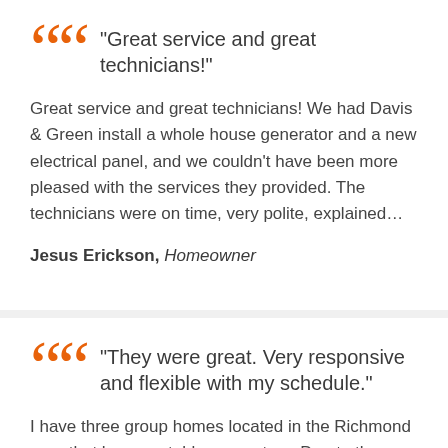“Great service and great technicians!”
Great service and great technicians! We had Davis & Green install a whole house generator and a new electrical panel, and we couldn’t have been more pleased with the services they provided. The technicians were on time, very polite, explained…
Jesus Erickson, Homeowner
“They were great. Very responsive and flexible with my schedule.”
I have three group homes located in the Richmond area that have portable generators. Due to the nature of the individuals we serve it is…